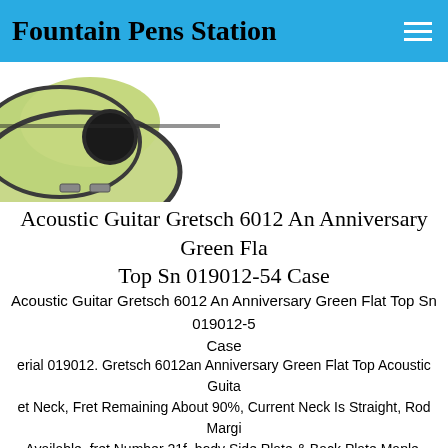Fountain Pens Station
[Figure (photo): Partial view of a green acoustic guitar body with black binding, photographed from above on a white background]
Acoustic Guitar Gretsch 6012 An Anniversary Green Flat Top Sn 019012-54 Case
Acoustic Guitar Gretsch 6012 An Anniversary Green Flat Top Sn 019012-54 Case
erial 019012. Gretsch 6012an Anniversary Green Flat Top Acoustic Guitar. et Neck, Fret Remaining About 90%, Current Neck Is Straight, Rod Margin Available. fret Number 21f. body Side Plate & Back Plate Maple.